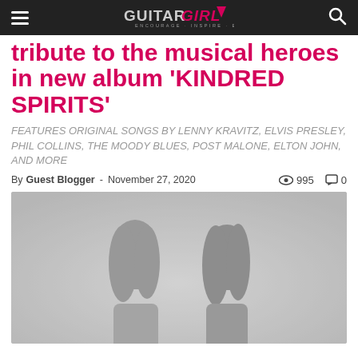Guitar Girl Magazine
tribute to the musical heroes in new album 'KINDRED SPIRITS'
FEATURES ORIGINAL SONGS BY LENNY KRAVITZ, ELVIS PRESLEY, PHIL COLLINS, THE MOODY BLUES, POST MALONE, ELTON JOHN, AND MORE
By Guest Blogger - November 27, 2020  995  0
[Figure (photo): Black and white photo of two women with long dark hair, slightly blurred/faded]